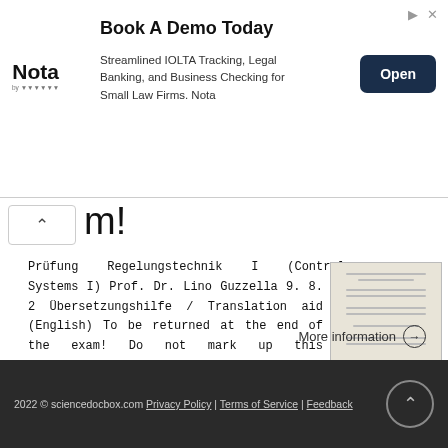[Figure (screenshot): Advertisement banner for Nota: 'Book A Demo Today — Streamlined IOLTA Tracking, Legal Banking, and Business Checking for Small Law Firms. Nota' with an Open button]
m!
Prüfung Regelungstechnik I (Control Systems I) Prof. Dr. Lino Guzzella 9. 8. 2 Übersetzungshilfe / Translation aid (English) To be returned at the end of the exam! Do not mark up this translation aid -
[Figure (thumbnail): Small thumbnail of the document page]
More information →
2022 © sciencedocbox.com Privacy Policy | Terms of Service | Feedback